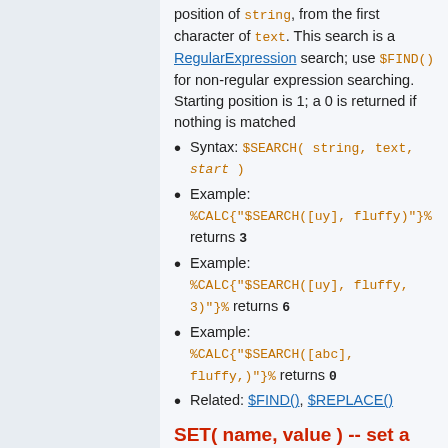position of string, from the first character of text. This search is a RegularExpression search; use $FIND() for non-regular expression searching. Starting position is 1; a 0 is returned if nothing is matched
Syntax: $SEARCH( string, text, start )
Example: %CALC{"$SEARCH([uy], fluffy)"}% returns 3
Example: %CALC{"$SEARCH([uy], fluffy, 3)"}% returns 6
Example: %CALC{"$SEARCH([abc], fluffy,)"}% returns 0
Related: $FIND(), $REPLACE()
SET( name, value ) -- set a